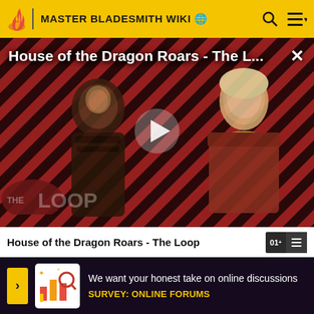MASTER BLADESMITH WIKI
[Figure (screenshot): Video thumbnail for 'House of the Dragon Roars - The Loop' showing two characters in costume against a diagonal striped red/black background, with a play button overlay and 'THE LOOP' badge]
House of the Dragon Roars - The Loop
We want your honest take on online discussions
SURVEY: ONLINE FORUMS